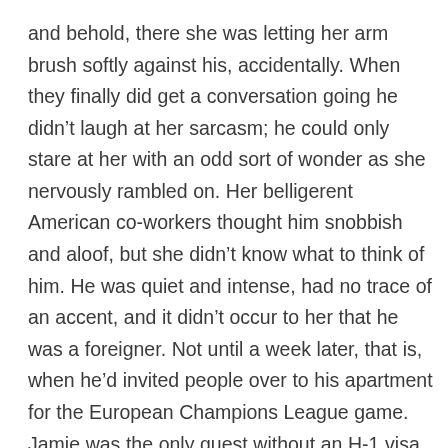and behold, there she was letting her arm brush softly against his, accidentally. When they finally did get a conversation going he didn’t laugh at her sarcasm; he could only stare at her with an odd sort of wonder as she nervously rambled on. Her belligerent American co-workers thought him snobbish and aloof, but she didn’t know what to think of him. He was quiet and intense, had no trace of an accent, and it didn’t occur to her that he was a foreigner. Not until a week later, that is, when he’d invited people over to his apartment for the European Champions League game. Jamie was the only guest without an H-1 visa or second language; not to mention that her passport had only one stamp on it. She’d sat and watched, but didn’t understand the game’s nuances. The wild adrenaline rush of everyone